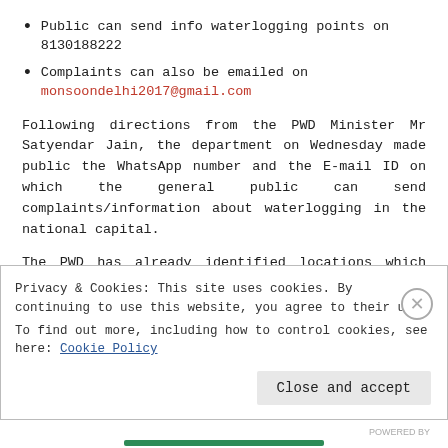Public can send info waterlogging points on 8130188222
Complaints can also be emailed on monsoondelhi2017@gmail.com
Following directions from the PWD Minister Mr Satyendar Jain, the department on Wednesday made public the WhatsApp number and the E-mail ID on which the general public can send complaints/information about waterlogging in the national capital.
The PWD has already identified locations which have suffered waterlogging during Monsoon months in the past and desilting work is being carried out.
Privacy & Cookies: This site uses cookies. By continuing to use this website, you agree to their use. To find out more, including how to control cookies, see here: Cookie Policy